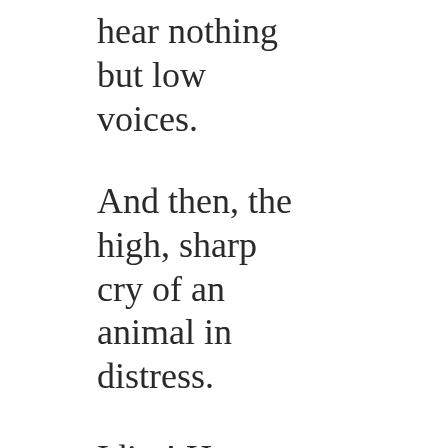hear nothing but low voices.
And then, the high, sharp cry of an animal in distress.
Idiot! He should have brought the key card with him! Victor threw